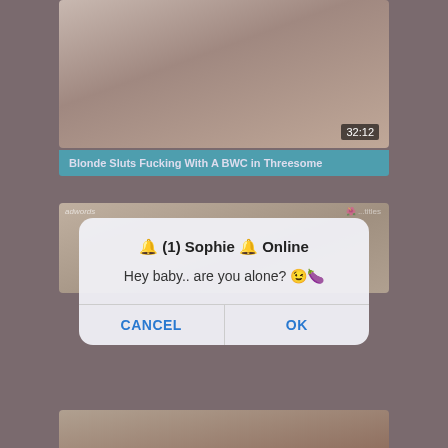[Figure (screenshot): Video thumbnail showing partial body image with timestamp 32:12]
Blonde Sluts Fucking With A BWC in Threesome
[Figure (screenshot): Second video thumbnail partially visible behind dialog]
[Figure (screenshot): Dialog box: '🔔 (1) Sophie 🔔 Online' with message 'Hey baby.. are you alone? 😉🍆' and CANCEL / OK buttons]
[Figure (screenshot): Ad notification banner: 'Messages • now' with text 'Hey Cutie ;) Want to see my Photos?' and a thumbnail image with reply icon]
[Figure (screenshot): Bottom video thumbnail partially visible]